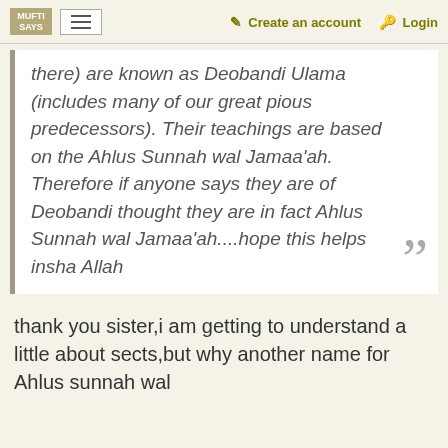MUFTI SAYS | Create an account | Login
there) are known as Deobandi Ulama (includes many of our great pious predecessors). Their teachings are based on the Ahlus Sunnah wal Jamaa'ah. Therefore if anyone says they are of Deobandi thought they are in fact Ahlus Sunnah wal Jamaa'ah....hope this helps insha Allah
thank you sister,i am getting to understand a little about sects,but why another name for Ahlus sunnah wal